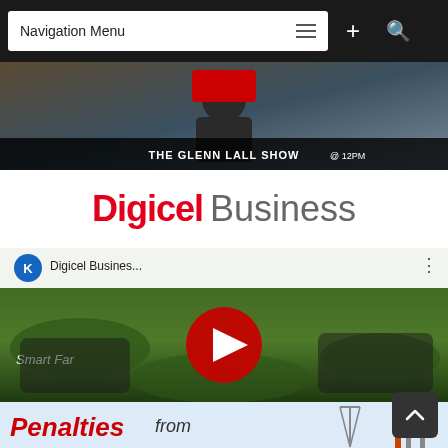[Figure (screenshot): Navigation menu bar with white button labeled 'Navigation Menu' with hamburger icon, plus '+' and search magnifier icons on dark background]
[Figure (screenshot): The Glenn Lall Show TV broadcast thumbnail image]
[Figure (logo): Digicel Business logo — 'Digicel' in red bold and 'Business' in grey on white background]
[Figure (screenshot): YouTube video thumbnail for Digicel Business 'Smart Farm' video with blue K avatar, play button, and green farm background]
[Figure (infographic): Penalties from The Petroleum Revenue Management Act infographic with red italic text and oil rig illustration]